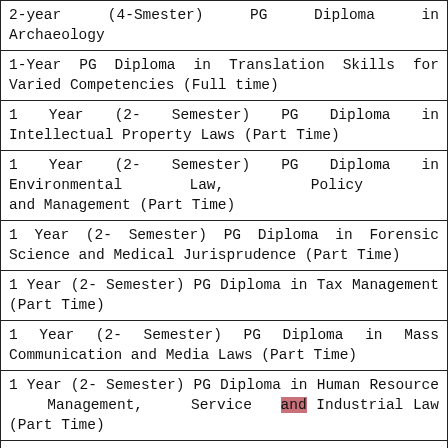| 2-year (4-Smester) PG Diploma in Archaeology |
| 1-Year PG Diploma in Translation Skills for Varied Competencies (Full time) |
| 1 Year (2- Semester) PG Diploma in Intellectual Property Laws (Part Time) |
| 1 Year (2- Semester) PG Diploma in Environmental Law, Policy and Management (Part Time) |
| 1 Year (2- Semester) PG Diploma in Forensic Science and Medical Jurisprudence (Part Time) |
| 1 Year (2- Semester) PG Diploma in Tax Management (Part Time) |
| 1 Year (2- Semester) PG Diploma in Mass Communication and Media Laws (Part Time) |
| 1 Year (2- Semester) PG Diploma in Human Resource Management, Service and Industrial Law (Part Time) |
| 1 Year (2- Semester) PG Diploma in |